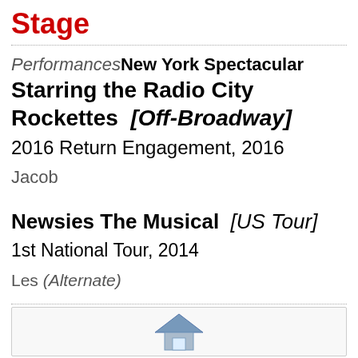Stage
Performances
New York Spectacular Starring the Radio City Rockettes [Off-Broadway] 2016 Return Engagement, 2016
Jacob
Newsies The Musical [US Tour] 1st National Tour, 2014
Les (Alternate)
[Figure (logo): Partial logo/icon visible at bottom of page, house-like shape in blue/gray]